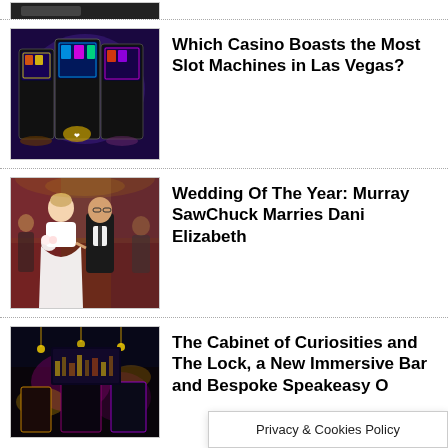[Figure (photo): Partial image stub at top — dark background, cropped]
Which Casino Boasts the Most Slot Machines in Las Vegas?
[Figure (photo): Photo of slot machines in a colorful casino with bright lights]
Wedding Of The Year: Murray SawChuck Marries Dani Elizabeth
[Figure (photo): Wedding photo of a bride in white gown and groom in tuxedo at an ornate venue]
The Cabinet of Curiosities and The Lock, a New Immersive Bar and Bespoke Speakeasy O...
[Figure (photo): Dark bar interior with purple lighting and city view]
Privacy & Cookies Policy